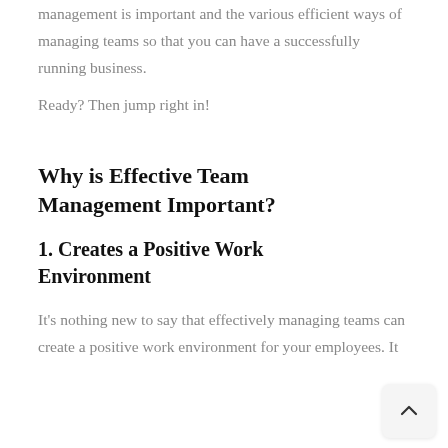management is important and the various efficient ways of managing teams so that you can have a successfully running business.
Ready? Then jump right in!
Why is Effective Team Management Important?
1. Creates a Positive Work Environment
It's nothing new to say that effectively managing teams can create a positive work environment for your employees. It